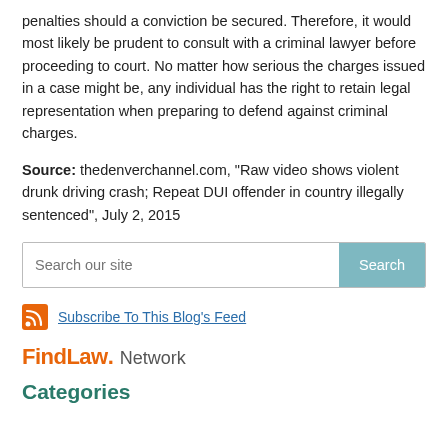penalties should a conviction be secured. Therefore, it would most likely be prudent to consult with a criminal lawyer before proceeding to court. No matter how serious the charges issued in a case might be, any individual has the right to retain legal representation when preparing to defend against criminal charges.
Source: thedenverchannel.com, "Raw video shows violent drunk driving crash; Repeat DUI offender in country illegally sentenced", July 2, 2015
Search our site
Subscribe To This Blog's Feed
FindLaw. Network
Categories